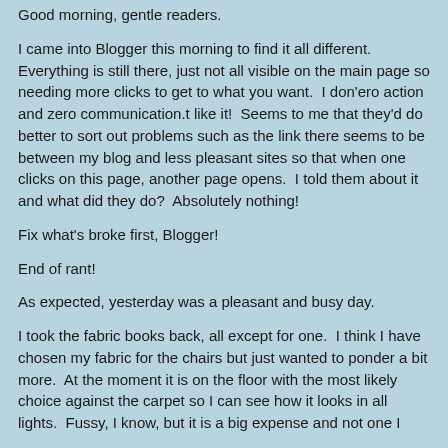Good morning, gentle readers.
I came into Blogger this morning to find it all different.  Everything is still there, just not all visible on the main page so needing more clicks to get to what you want.  I don'ero action and zero communication.t like it!  Seems to me that they'd do better to sort out problems such as the link there seems to be between my blog and less pleasant sites so that when one clicks on this page, another page opens.  I told them about it and what did they do?  Absolutely nothing!
Fix what's broke first, Blogger!
End of rant!
As expected, yesterday was a pleasant and busy day.
I took the fabric books back, all except for one.  I think I have chosen my fabric for the chairs but just wanted to ponder a bit more.  At the moment it is on the floor with the most likely choice against the carpet so I can see how it looks in all lights.  Fussy, I know, but it is a big expense and not one I